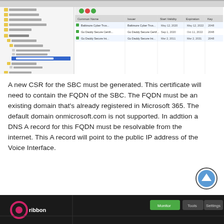[Figure (screenshot): Screenshot of a network/SBC management console showing a tree navigation menu on the left and a certificate table panel on the right with columns: Common Name, Issuer, Start Validity, Expiration, Key Length. Three certificate rows are visible.]
A new CSR for the SBC must be generated. This certificate will need to contain the FQDN of the SBC. The FQDN must be an existing domain that's already registered in Microsoft 365. The default domain onmicrosoft.com is not supported. In addtion a DNS A record for this FQDN must be resolvable from the internet. This A record will point to the public IP address of the Voice Interface.
[Figure (screenshot): Bottom portion of a Ribbon SBC management interface showing the top navigation bar with Monitor, Tools, and Settings tabs, and a pink/magenta Ribbon logo on the left.]